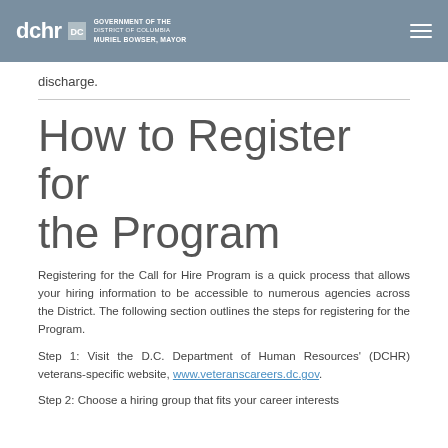DCHR — GOVERNMENT OF THE DISTRICT OF COLUMBIA — DC MURIEL BOWSER, MAYOR
discharge.
How to Register for the Program
Registering for the Call for Hire Program is a quick process that allows your hiring information to be accessible to numerous agencies across the District. The following section outlines the steps for registering for the Program.
Step 1: Visit the D.C. Department of Human Resources' (DCHR) veterans-specific website, www.veteranscareers.dc.gov.
Step 2: Choose a hiring group that fits your career interests